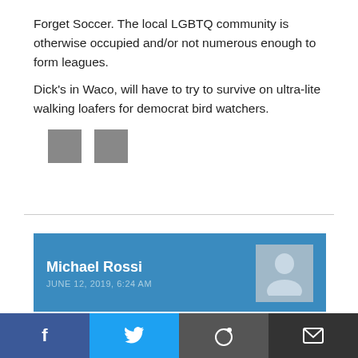Forget Soccer. The local LGBTQ community is otherwise occupied and/or not numerous enough to form leagues.
Dick's in Waco, will have to try to survive on ultra-lite walking loafers for democrat bird watchers.
[Figure (other): Two small grey vote/reaction buttons]
Michael Rossi
JUNE 12, 2019, 6:24 AM
Unlike obozo I'm done with DICKS
Gave the wife $100 to buy her running shoes as at obozo's favorite flavor